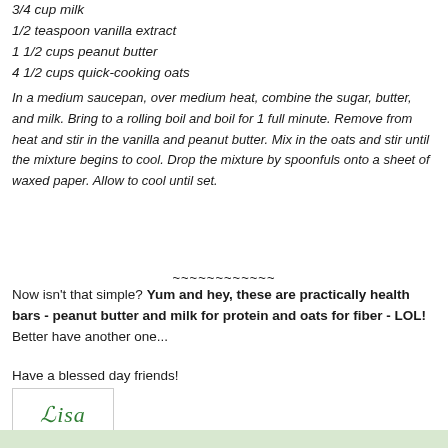3/4 cup milk
1/2 teaspoon vanilla extract
1 1/2 cups peanut butter
4 1/2 cups quick-cooking oats
In a medium saucepan, over medium heat, combine the sugar, butter, and milk. Bring to a rolling boil and boil for 1 full minute. Remove from heat and stir in the vanilla and peanut butter. Mix in the oats and stir until the mixture begins to cool. Drop the mixture by spoonfuls onto a sheet of waxed paper. Allow to cool until set.
~~~~~~~~~~~~
Now isn't that simple? Yum and hey, these are practically health bars - peanut butter and milk for protein and oats for fiber - LOL! Better have another one...
Have a blessed day friends!
[Figure (illustration): Handwritten cursive signature reading 'Lisa' in green ink inside a bordered box]